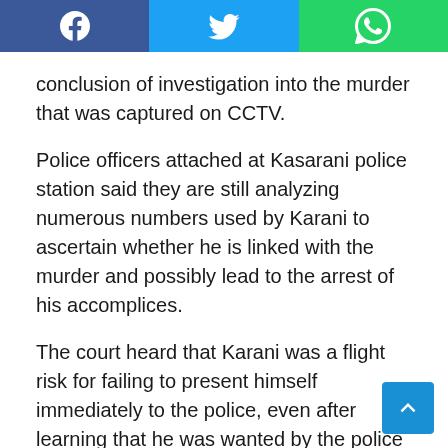[Figure (other): Social sharing bar with Facebook, Twitter, and WhatsApp buttons]
conclusion of investigation into the murder that was captured on CCTV.
Police officers attached at Kasarani police station said they are still analyzing numerous numbers used by Karani to ascertain whether he is linked with the murder and possibly lead to the arrest of his accomplices.
The court heard that Karani was a flight risk for failing to present himself immediately to the police, even after learning that he was wanted by the police through the DCI Facebook wall on May 20.
The man presented himself to the Directorate of Criminal Investigations (DCI) headquarters at Mazingira House on Monday accompanied by his lawyer. He denied reports linking